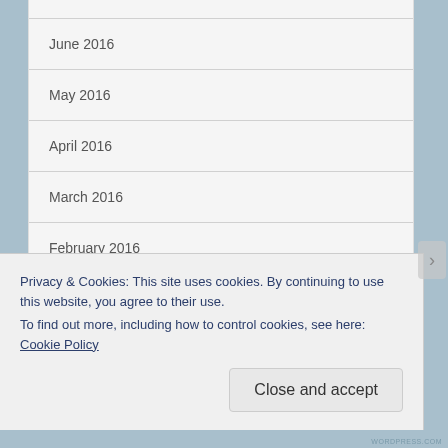June 2016
May 2016
April 2016
March 2016
February 2016
January 2016
Privacy & Cookies: This site uses cookies. By continuing to use this website, you agree to their use.
To find out more, including how to control cookies, see here: Cookie Policy
Close and accept